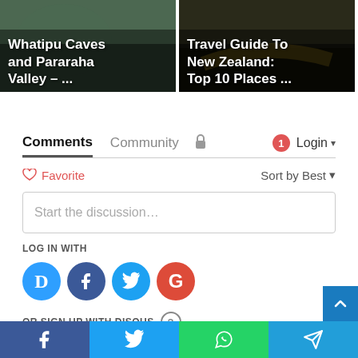[Figure (screenshot): Two article card thumbnails side by side. Left card shows outdoor/cave scene with text 'Whatipu Caves and Pararaha Valley – ...'. Right card shows kayaking/New Zealand scene with text 'Travel Guide To New Zealand: Top 10 Places ...'. A partial third card is visible on the right edge.]
[Figure (screenshot): Disqus comments widget showing: Comments and Community tabs, lock icon, notification badge (1), Login button, Favorite button, Sort by Best dropdown, 'Start the discussion...' text input box, 'LOG IN WITH' label, social login icons (Disqus D, Facebook, Twitter, Google), 'OR SIGN UP WITH DISQUS' with question mark circle.]
[Figure (screenshot): Bottom social share bar with four buttons: Facebook (blue), Twitter (light blue), WhatsApp (green), Telegram (blue). Also a scroll-to-top button (dark blue arrow up) on the right side above the bar.]